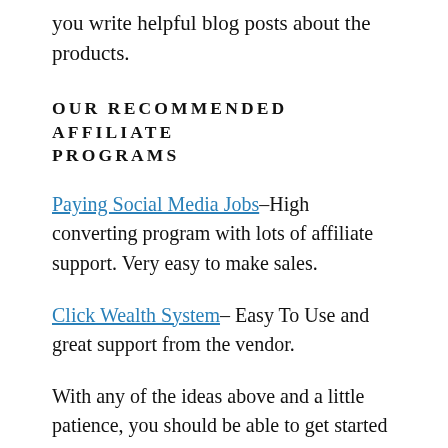you write helpful blog posts about the products.
OUR RECOMMENDED AFFILIATE PROGRAMS
Paying Social Media Jobs–High converting program with lots of affiliate support. Very easy to make sales.
Click Wealth System– Easy To Use and great support from the vendor.
With any of the ideas above and a little patience, you should be able to get started